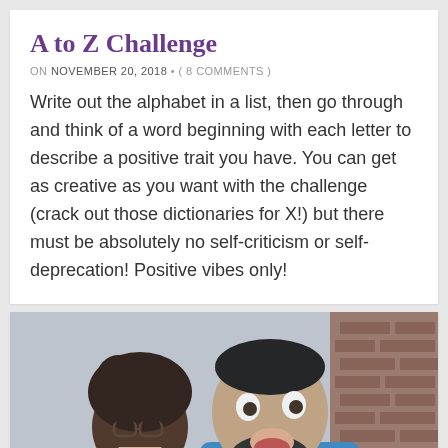A to Z Challenge
ON NOVEMBER 20, 2018 • ( 8 COMMENTS )
Write out the alphabet in a list, then go through and think of a word beginning with each letter to describe a positive trait you have. You can get as creative as you want with the challenge (crack out those dictionaries for X!) but there must be absolutely no self-criticism or self-deprecation! Positive vibes only!
[Figure (photo): A man and woman laughing together outdoors near a brick wall. The woman is shorter with natural hair and glasses, wearing white. The man is taller, bearded, wearing a blue shirt, looking upward with an open-mouthed smile.]